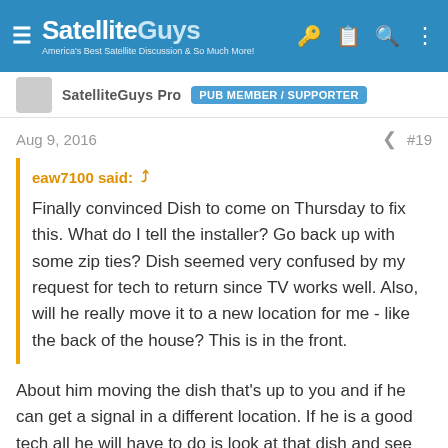SatelliteGuys — America's Best Satellite Discussion & So Much More!
SatelliteGuys Pro  Pub Member / Supporter
Aug 9, 2016   #19
eaw7100 said: Finally convinced Dish to come on Thursday to fix this. What do I tell the installer? Go back up with some zip ties? Dish seemed very confused by my request for tech to return since TV works well. Also, will he really move it to a new location for me - like the back of the house? This is in the front.
About him moving the dish that's up to you and if he can get a signal in a different location. If he is a good tech all he will have to do is look at that dish and see what your complaint is I mean really! If he moves it watch if you can, get a lawn chair and watch for a